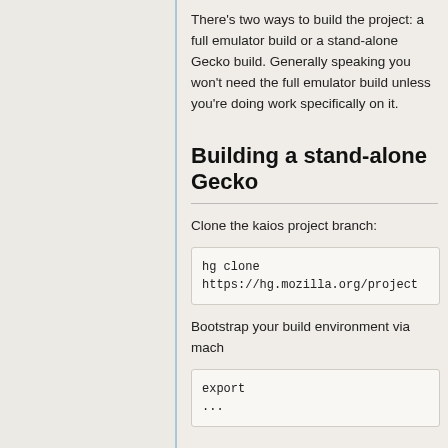There's two ways to build the project: a full emulator build or a stand-alone Gecko build. Generally speaking you won't need the full emulator build unless you're doing work specifically on it.
Building a stand-alone Gecko
Clone the kaios project branch:
Bootstrap your build environment via mach